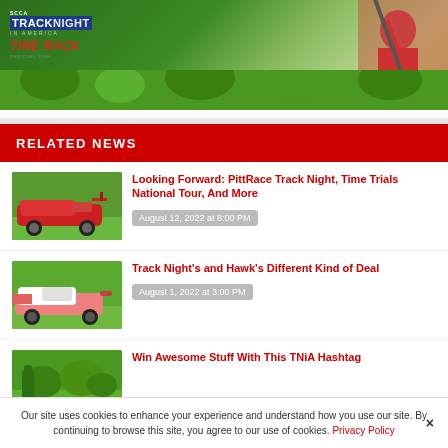[Figure (photo): Hero image showing Track Night in America / Tire Rack logo overlay on a person in red shirt holding equipment, green background]
RELATED NEWS
[Figure (photo): Red Honda Civic Type R race car on a green track]
Looking Forward: PittRace Track Night, Time Trials National Tour, And More
August 12, 2022 at 8:00 PM
[Figure (photo): Pink/white Camaro race car on track with green background]
Track Night's and Hawk's Different Kind of Deal
August 1, 2022 at 3:00 PM
[Figure (photo): Green outdoor setting with object visible]
Win Awesome Stuff With This TNiA Hashtag
Our site uses cookies to enhance your experience and understand how you use our site. By continuing to browse this site, you agree to our use of cookies. Privacy Policy